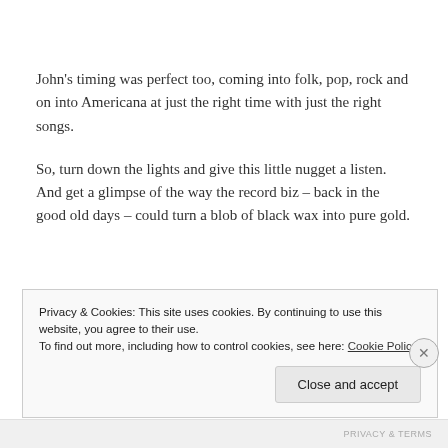John's timing was perfect too, coming into folk, pop, rock and on into Americana at just the right time with just the right songs.
So, turn down the lights and give this little nugget a listen. And get a glimpse of the way the record biz – back in the good old days – could turn a blob of black wax into pure gold.
Privacy & Cookies: This site uses cookies. By continuing to use this website, you agree to their use.
To find out more, including how to control cookies, see here: Cookie Policy
Close and accept